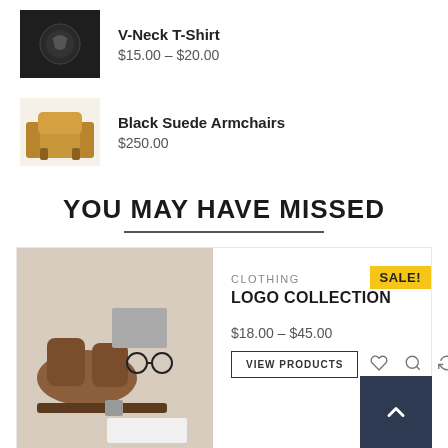[Figure (photo): Product thumbnail for V-Neck T-Shirt, dark background with logo]
V-Neck T-Shirt
$15.00 – $20.00
[Figure (photo): Product thumbnail for Black Suede Armchairs, golden armchair on white background]
Black Suede Armchairs
$250.00
YOU MAY HAVE MISSED
[Figure (photo): Product group photo showing brown boots, belt, glasses, white shirt, grey trousers with SALE! badge]
CLOTHING
LOGO COLLECTION
$18.00 – $45.00
[Figure (photo): Person wearing blue beanie hat with SALE! badge]
ACCESSORIES
BEANIE WITH LOGO